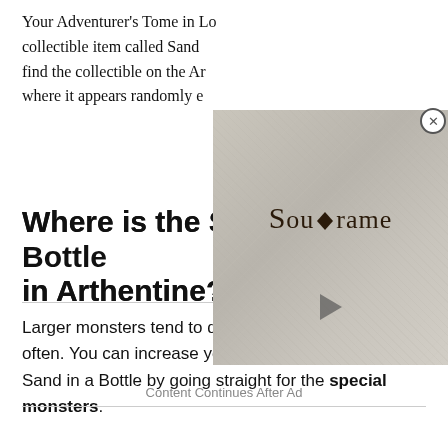Your Adventurer's Tome in Lo… collectible item called Sand … find the collectible on the Ar… where it appears randomly e…
[Figure (screenshot): Advertisement overlay showing 'Soulframe' logo text in gothic style on a stone-textured background, with a play button and close (X) button]
Where is the Sand in a Bottle in Arthentine?
Larger monsters tend to drop Sand in a Bottle more often. You can increase your chances of finding the Sand in a Bottle by going straight for the special monsters.
Content Continues After Ad